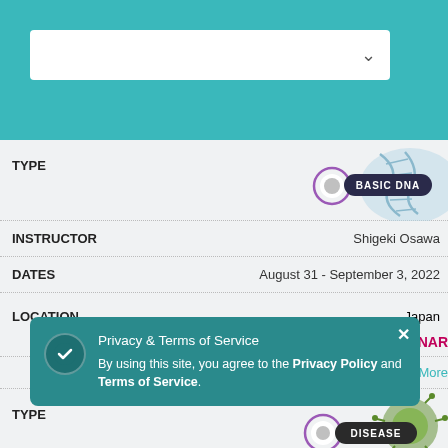[Figure (screenshot): Teal header bar with white dropdown/search box with chevron]
TYPE
[Figure (illustration): BASIC DNA badge with DNA helix graphic]
INSTRUCTOR    Shigeki Osawa
DATES    August 31 - September 3, 2022
LOCATION    Japan   ONLINE SEMINAR
Learn More
TYPE
[Figure (illustration): DISEASE badge with virus/cell graphic]
Privacy & Terms of Service
By using this site, you agree to the Privacy Policy and Terms of Service.
INSTRUCTOR    Janp…
DATES    August 31 - September 10, 2022